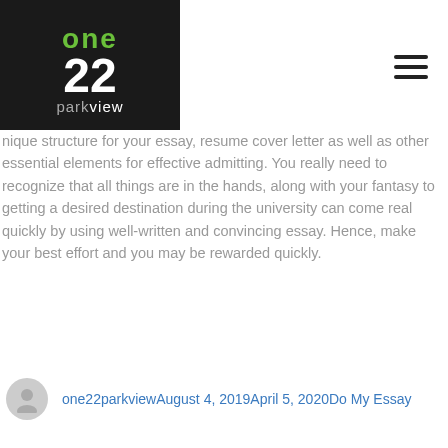[Figure (logo): One22 Parkview logo: dark background with green 'one' text and white '22 parkview' text]
nique structure for your essay, resume cover letter as well as other essential elements for effective admitting. You really need to recognize that all things are in the hands, along with your fantasy to getting a desired destination during the university can come real quickly by using well-written and convincing essay. Hence, make your best effort and you may be rewarded quickly.
one22parkviewAugust 4, 2019April 5, 2020Do My Essay